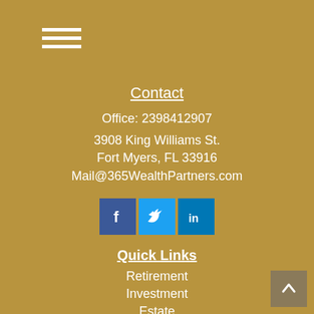≡ (hamburger menu)
Contact
Office: 2398412907
3908 King Williams St.
Fort Myers, FL 33916
Mail@365WealthPartners.com
[Figure (infographic): Social media icons: Facebook (blue square with f), Twitter (blue square with bird), LinkedIn (blue square with in)]
Quick Links
Retirement
Investment
Estate
Insurance
Tax
Money
Lifestyle
All Articles